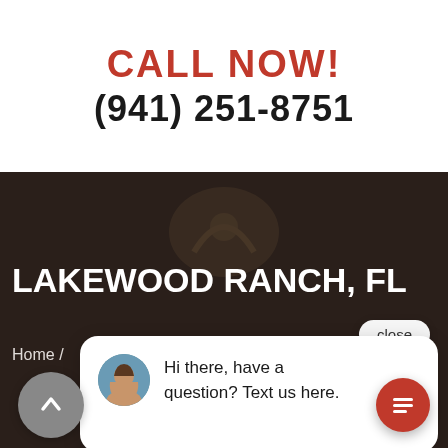CALL NOW!
(941) 251-8751
[Figure (screenshot): Dark hero section with Lakewood Ranch FL location title and chat widget overlay showing a female avatar and message 'Hi there, have a question? Text us here.']
LAKEWOOD RANCH, FL
Home /
close
Hi there, have a question? Text us here.